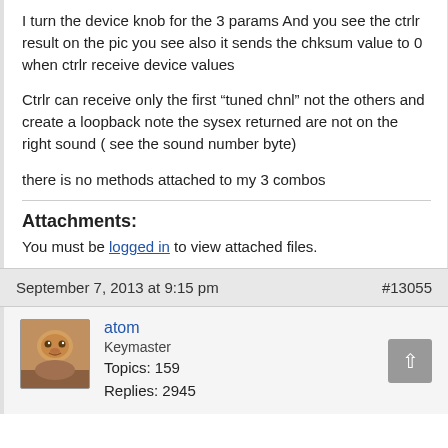I turn the device knob for the 3 params And you see the ctrlr result on the pic you see also it sends the chksum value to 0 when ctrlr receive device values
Ctrlr can receive only the first “tuned chnl” not the others and create a loopback note the sysex returned are not on the right sound ( see the sound number byte)
there is no methods attached to my 3 combos
Attachments:
You must be logged in to view attached files.
September 7, 2013 at 9:15 pm  #13055
atom
Keymaster
Topics: 159
Replies: 2945